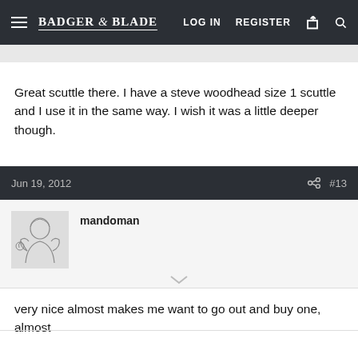BADGER & BLADE | LOG IN  REGISTER
Great scuttle there. I have a steve woodhead size 1 scuttle and I use it in the same way. I wish it was a little deeper though.
Jun 19, 2012  #13
mandoman
very nice almost makes me want to go out and buy one, almost